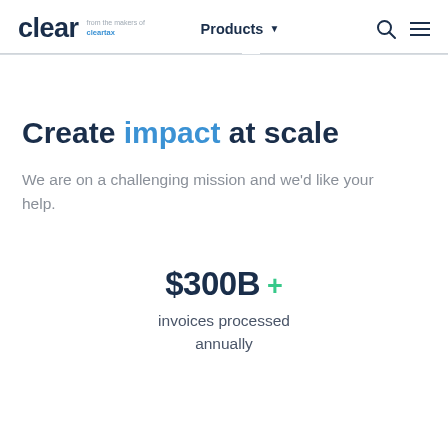clear from the makers of cleartax | Products ▾
Create impact at scale
We are on a challenging mission and we'd like your help.
$300B + invoices processed annually